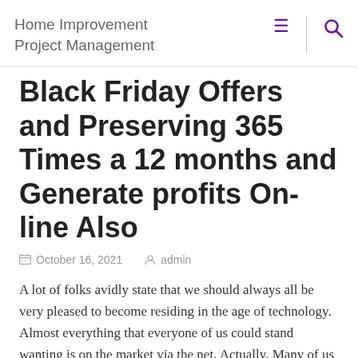Home Improvement Project Management
Black Friday Offers and Preserving 365 Times a 12 months and Generate profits On-line Also
October 16, 2021   admin
A lot of folks avidly state that we should always all be very pleased to become residing in the age of technology. Almost everything that everyone of us could stand wanting is on the market via the net. Actually, Many of us are rendering it a Take note not to interact in usual Black Friday revenues at their...